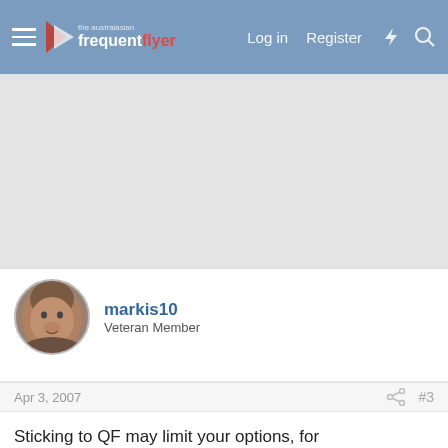the australasian frequent flyer | Log in | Register
[Figure (other): Advertisement / blank ad space area]
markis10
Veteran Member
Apr 3, 2007  #3
Sticking to QF may limit your options, for instance Luftansa have a RTW for $1589 ++ valid from Jan3 08, does not include internal US flights and QF is a permitted carrier.
Kiwi Flyer